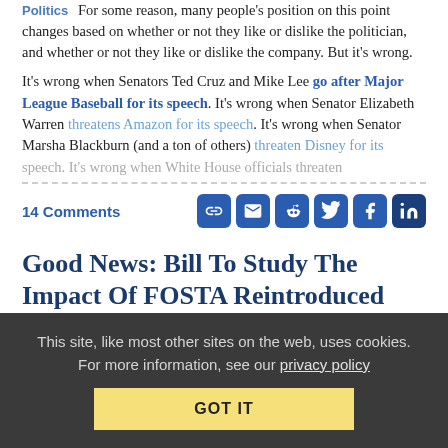Politics For some reason, many people's position on this point changes based on whether or not they like or dislike the politician, and whether or not they like or dislike the company. But it's wrong.
It's wrong when Senators Ted Cruz and Mike Lee go after Major League Baseball for its speech. It's wrong when Senator Elizabeth Warren threatens Amazon for its speech. It's wrong when Senator Marsha Blackburn (and a ton of others) threaten Disney for its speech. It's wrong when White House officials threaten...
14 Comments
Good News: Bill To Study The Impact Of FOSTA Reintroduced
from the a-small-step-in-the-right-direction dept
This site, like most other sites on the web, uses cookies. For more information, see our privacy policy GOT IT